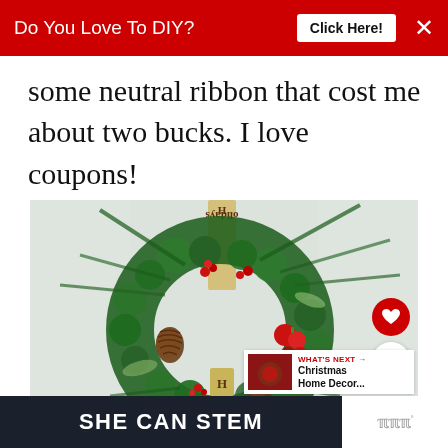Do You Love To DIY?  Click Here!  ×
some neutral ribbon that cost me about two bucks. I love coupons!
[Figure (photo): A festive Christmas wreath made of pine branches, pinecones, red berries, and red ornaments, hanging on a wall with a burlap ribbon reading 'Holidays'. Overlaid with a heart icon button (red circle) and a share icon button (white circle). A 'What's Next' thumbnail panel shows 'Christmas Home Decor...' with a red arrow.]
[Figure (screenshot): Ad banner at the bottom: dark navy background with white bold text 'SHE CAN STEM', and a white logo area on the right with 'w°' symbol.]